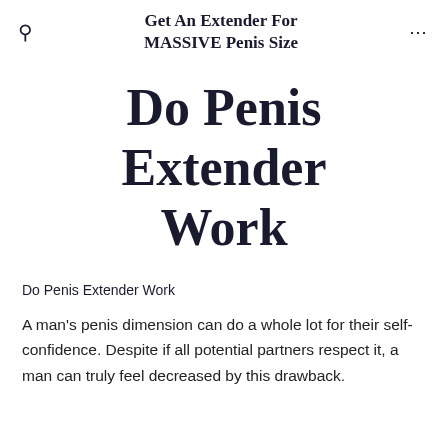Get An Extender For MASSIVE Penis Size
Do Penis Extender Work
Do Penis Extender Work
A man's penis dimension can do a whole lot for their self-confidence. Despite if all potential partners respect it, a man can truly feel decreased by this drawback.